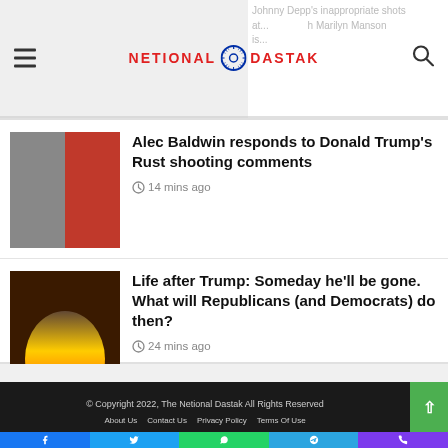NETIONAL DASTAK — Johnny Depp's inappropriate shots at... h Marilyn Manson is...
Alec Baldwin responds to Donald Trump's Rust shooting comments
14 mins ago
Life after Trump: Someday he'll be gone. What will Republicans (and Democrats) do then?
24 mins ago
© Copyright 2022, The Netional Dastak All Rights Reserved
About Us   Contact Us   Privacy Policy   Terms Of Use